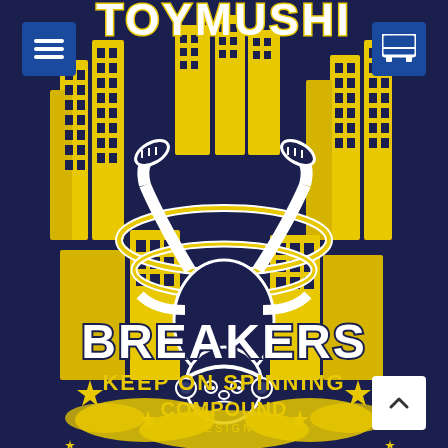[Figure (illustration): Navy blue t-shirt graphic showing a cartoon character doing a headstand/breakdance spin move in front of yellow city buildings. Text reads 'TOYMUSHI BREAKERS - KEEP ON SPINNING - COMPOUND DESIGN'. The illustration is in yellow, white, and navy blue. Stars and smoke/cloud effects surround the character.]